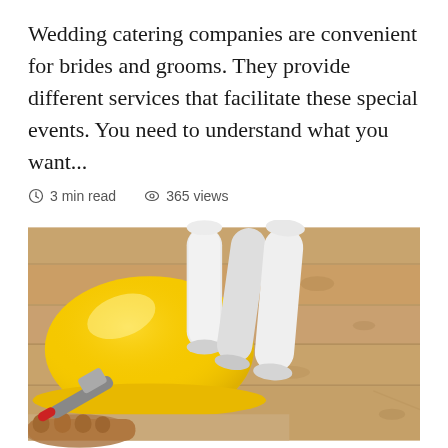Wedding catering companies are convenient for brides and grooms. They provide different services that facilitate these special events. You need to understand what you want...
3 min read   365 views
[Figure (photo): A yellow hard hat and rolled-up blueprints/plans resting on a wooden surface, with work gloves and a hammer visible in the lower left corner.]